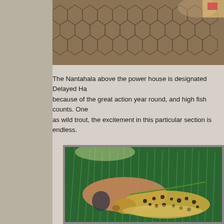[Figure (photo): Close-up photo of a fishing net with hexagonal mesh pattern, brown/tan coloring, partial view cropped at top of page]
The Nantahala above the power house is designated Delayed Ha… because of the great action year round, and high fish counts. One… as wild trout, the excitement in this particular section is endless.
[Figure (photo): Photo of a tattooed hand holding a brown trout with black spots against a background of green grass or aquatic vegetation]